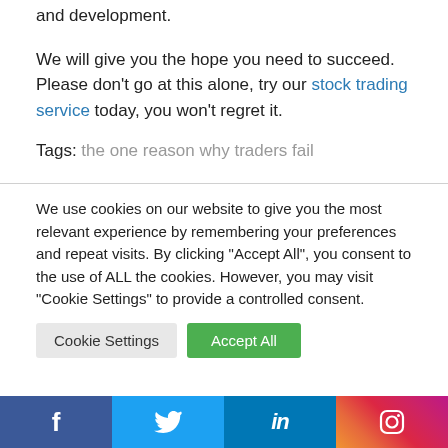and development.
We will give you the hope you need to succeed. Please don't go at this alone, try our stock trading service today, you won't regret it.
Tags: the one reason why traders fail
We use cookies on our website to give you the most relevant experience by remembering your preferences and repeat visits. By clicking "Accept All", you consent to the use of ALL the cookies. However, you may visit "Cookie Settings" to provide a controlled consent.
[Figure (infographic): Social media share bar with Facebook, Twitter, LinkedIn, and Instagram icons]